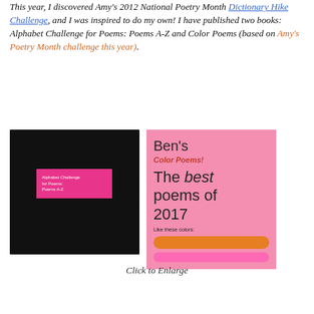This year, I discovered Amy's 2012 National Poetry Month Dictionary Hike Challenge, and I was inspired to do my own! I have published two books: Alphabet Challenge for Poems: Poems A-Z and Color Poems (based on Amy's Poetry Month challenge this year).
[Figure (photo): Two book covers side by side. Left: a black cover with a pink rectangle label reading 'Alphabet Challenge for Poems: Poems A-Z'. Right: a pink cover titled 'Ben's Color Poems! The best poems of 2017. Like these colors:' with an orange bar and a pink bar.]
Click to Enlarge